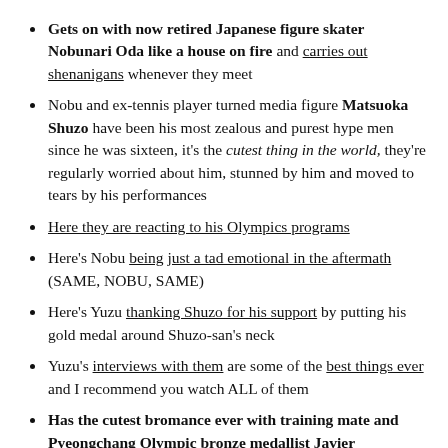Gets on with now retired Japanese figure skater Nobunari Oda like a house on fire and carries out shenanigans whenever they meet
Nobu and ex-tennis player turned media figure Matsuoka Shuzo have been his most zealous and purest hype men since he was sixteen, it's the cutest thing in the world, they're regularly worried about him, stunned by him and moved to tears by his performances
Here they are reacting to his Olympics programs
Here's Nobu being just a tad emotional in the aftermath (SAME, NOBU, SAME)
Here's Yuzu thanking Shuzo for his support by putting his gold medal around Shuzo-san's neck
Yuzu's interviews with them are some of the best things ever and I recommend you watch ALL of them
Has the cutest bromance ever with training mate and Pyeongchang Olympic bronze medallist Javier Fernandez (eg. when he cried bc he didn't win